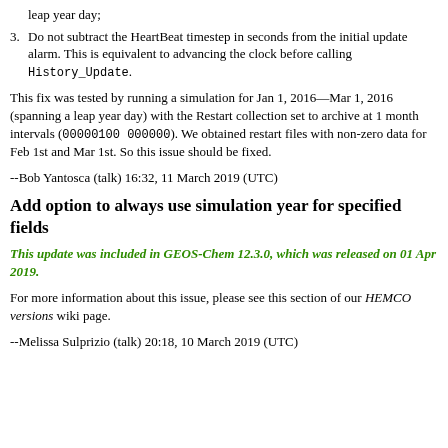leap year day;
Do not subtract the HeartBeat timestep in seconds from the initial update alarm. This is equivalent to advancing the clock before calling History_Update.
This fix was tested by running a simulation for Jan 1, 2016—Mar 1, 2016 (spanning a leap year day) with the Restart collection set to archive at 1 month intervals (00000100 000000). We obtained restart files with non-zero data for Feb 1st and Mar 1st. So this issue should be fixed.
--Bob Yantosca (talk) 16:32, 11 March 2019 (UTC)
Add option to always use simulation year for specified fields
This update was included in GEOS-Chem 12.3.0, which was released on 01 Apr 2019.
For more information about this issue, please see this section of our HEMCO versions wiki page.
--Melissa Sulprizio (talk) 20:18, 10 March 2019 (UTC)